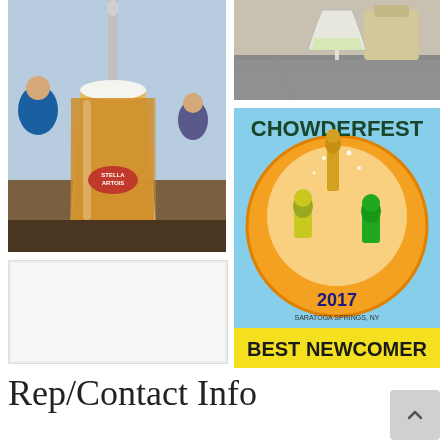[Figure (photo): Photo of a Stella Artois beer glass on a bar counter with people in background]
[Figure (photo): Photo of a wine glass with white wine on a granite table in a restaurant]
[Figure (illustration): Chowderfest 2017 Best Newcomer award logo with colorful cartoon characters]
[Figure (photo): Blank/placeholder white photo box]
Rep/Contact Info